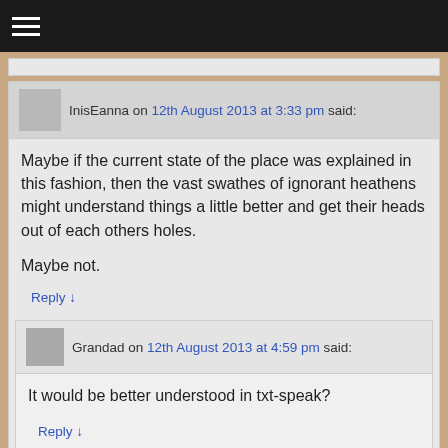≡
InisEanna on 12th August 2013 at 3:33 pm said:
Maybe if the current state of the place was explained in this fashion, then the vast swathes of ignorant heathens might understand things a little better and get their heads out of each others holes.

Maybe not.
Reply ↓
Grandad on 12th August 2013 at 4:59 pm said:
It would be better understood in txt-speak?
Reply ↓